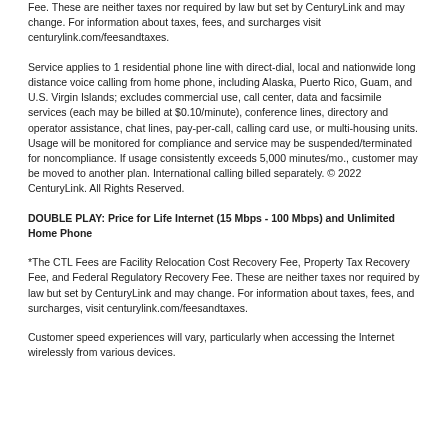Fee. These are neither taxes nor required by law but set by CenturyLink and may change. For information about taxes, fees, and surcharges visit centurylink.com/feesandtaxes.
Service applies to 1 residential phone line with direct-dial, local and nationwide long distance voice calling from home phone, including Alaska, Puerto Rico, Guam, and U.S. Virgin Islands; excludes commercial use, call center, data and facsimile services (each may be billed at $0.10/minute), conference lines, directory and operator assistance, chat lines, pay-per-call, calling card use, or multi-housing units. Usage will be monitored for compliance and service may be suspended/terminated for noncompliance. If usage consistently exceeds 5,000 minutes/mo., customer may be moved to another plan. International calling billed separately. © 2022 CenturyLink. All Rights Reserved.
DOUBLE PLAY: Price for Life Internet (15 Mbps - 100 Mbps) and Unlimited Home Phone
*The CTL Fees are Facility Relocation Cost Recovery Fee, Property Tax Recovery Fee, and Federal Regulatory Recovery Fee. These are neither taxes nor required by law but set by CenturyLink and may change. For information about taxes, fees, and surcharges, visit centurylink.com/feesandtaxes.
Customer speed experiences will vary, particularly when accessing the Internet wirelessly from various devices.